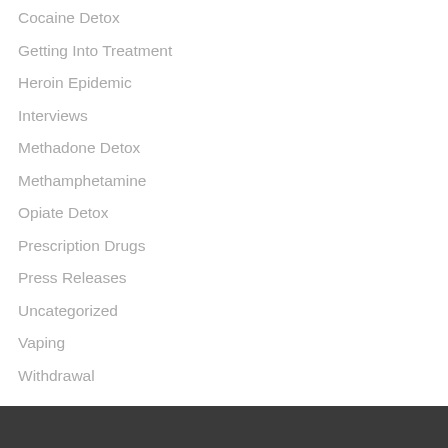Cocaine Detox
Getting Into Treatment
Heroin Epidemic
Interviews
Methadone Detox
Methamphetamine
Opiate Detox
Prescription Drugs
Press Releases
Uncategorized
Vaping
Withdrawal